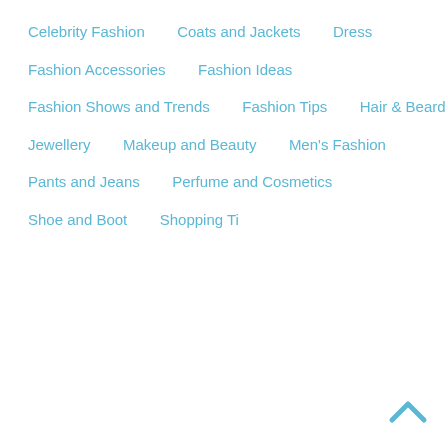Celebrity Fashion
Coats and Jackets
Dress
Fashion Accessories
Fashion Ideas
Fashion Shows and Trends
Fashion Tips
Hair & Beard
Jewellery
Makeup and Beauty
Men's Fashion
Pants and Jeans
Perfume and Cosmetics
Shoe and Boot
Shopping Tips